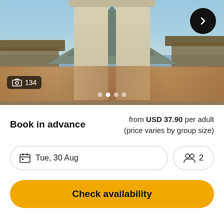[Figure (photo): Photo of a Balinese temple gate (split gate / candi bentar) with mountain in background and tourists standing in the foreground. Blue sky visible. Sheltered structures on left and right sides. Image carousel with 134 photos indicated.]
134
Book in advance
from USD 37.90 per adult (price varies by group size)
Tue, 30 Aug
2
Check availability